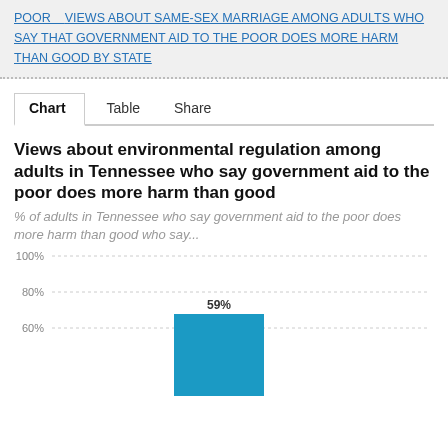POOR   VIEWS ABOUT SAME-SEX MARRIAGE AMONG ADULTS WHO SAY THAT GOVERNMENT AID TO THE POOR DOES MORE HARM THAN GOOD BY STATE
Chart   Table   Share
Views about environmental regulation among adults in Tennessee who say government aid to the poor does more harm than good
% of adults in Tennessee who say government aid to the poor does more harm than good who say...
[Figure (bar-chart): Views about environmental regulation among adults in Tennessee who say government aid to the poor does more harm than good]